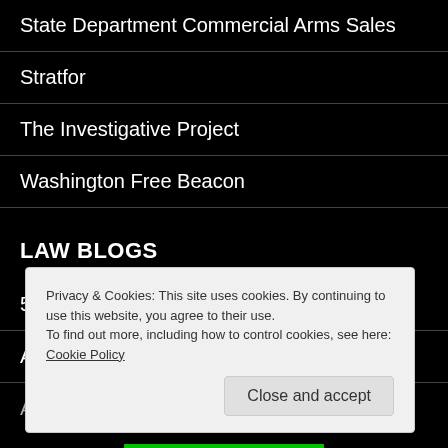State Department Commercial Arms Sales
Stratfor
The Investigative Project
Washington Free Beacon
LAW BLOGS
50 Great Law Blogs
Above The Law
Privacy & Cookies: This site uses cookies. By continuing to use this website, you agree to their use.
To find out more, including how to control cookies, see here: Cookie Policy
Close and accept